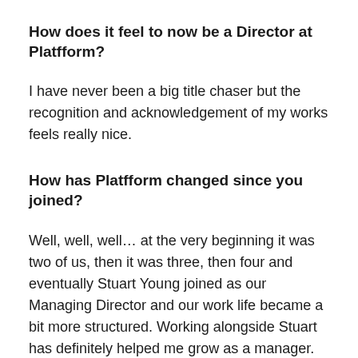How does it feel to now be a Director at Platfform?
I have never been a big title chaser but the recognition and acknowledgement of my works feels really nice.
How has Platfform changed since you joined?
Well, well, well… at the very beginning it was two of us, then it was three, then four and eventually Stuart Young joined as our Managing Director and our work life became a bit more structured. Working alongside Stuart has definitely helped me grow as a manager.
Biggest achievement to date?